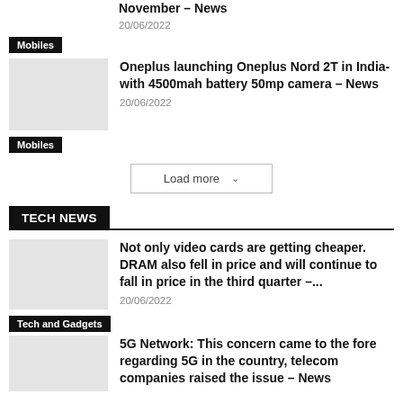November – News
20/06/2022
Mobiles
Oneplus launching Oneplus Nord 2T in India-with 4500mah battery 50mp camera – News
20/06/2022
Mobiles
Load more
TECH NEWS
Not only video cards are getting cheaper. DRAM also fell in price and will continue to fall in price in the third quarter –...
20/06/2022
Tech and Gadgets
5G Network: This concern came to the fore regarding 5G in the country, telecom companies raised the issue – News